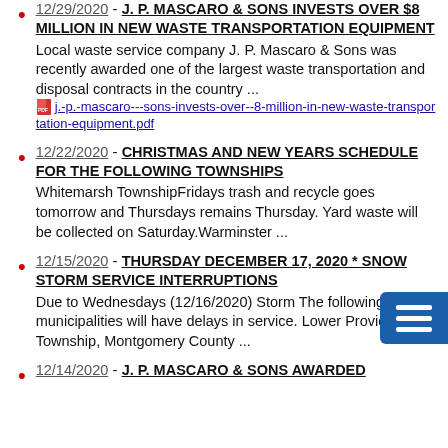12/29/2020 - J. P. MASCARO & SONS INVESTS OVER $8 MILLION IN NEW WASTE TRANSPORTATION EQUIPMENT
Local waste service company J. P. Mascaro & Sons was recently awarded one of the largest waste transportation and disposal contracts in the country ...
j.-p.-mascaro---sons-invests-over--8-million-in-new-waste-transportation-equipment.pdf
12/22/2020 - CHRISTMAS AND NEW YEARS SCHEDULE FOR THE FOLLOWING TOWNSHIPS
Whitemarsh TownshipFridays trash and recycle goes tomorrow and Thursdays remains Thursday. Yard waste will be collected on Saturday.Warminster ...
12/15/2020 - THURSDAY DECEMBER 17, 2020 * SNOW STORM SERVICE INTERRUPTIONS
Due to Wednesdays (12/16/2020) Storm The following municipalities will have delays in service. Lower Providence Township, Montgomery County ...
12/14/2020 - J. P. MASCARO & SONS AWARDED